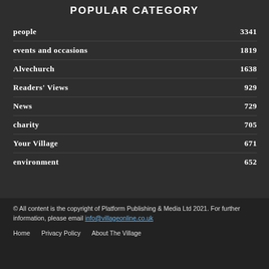POPULAR CATEGORY
people  3341
events and occasions  1819
Alvechurch  1638
Readers' Views  929
News  729
charity  705
Your Village  671
environment  652
© All content is the copyright of Platform Publishing & Media Ltd 2021. For further information, please email info@villageonline.co.uk
Home  Privacy Policy  About The Village